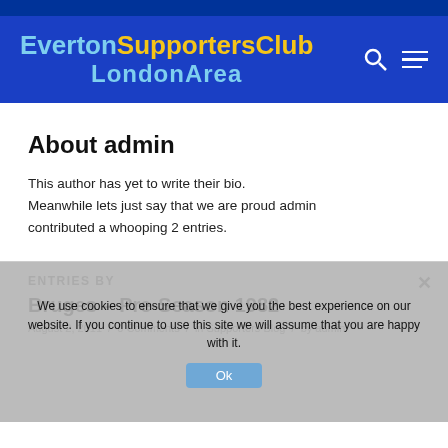[Figure (logo): Everton Supporters Club London Area logo with blue and yellow text on dark blue background]
About admin
This author has yet to write their bio. Meanwhile lets just say that we are proud admin contributed a whooping 2 entries.
ENTRIES BY
Bruges – Pre-Season 1982
August 2, 2011  /  0 Comments  /  in Supporters Blog  /  by admin
We use cookies to ensure that we give you the best experience on our website. If you continue to use this site we will assume that you are happy with it.